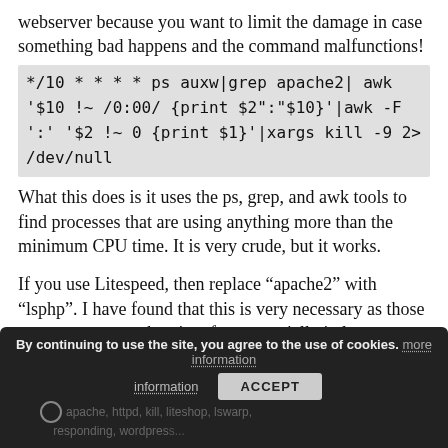webserver because you want to limit the damage in case something bad happens and the command malfunctions!
*/10 * * * * ps auxw|grep apache2| awk '$10 !~ /0:00/ {print $2":"$10}'|awk -F ':' '$2 !~ 0 {print $1}'|xargs kill -9 2> /dev/null
What this does is it uses the ps, grep, and awk tools to find processes that are using anything more than the minimum CPU time. It is very crude, but it works.
If you use Litespeed, then replace “apache2” with “lsphp”. I have found that this is very necessary as those processes get stuck quite often, especially in low memory situations.
By continuing to use the site, you agree to the use of cookies. more information | ACCEPT